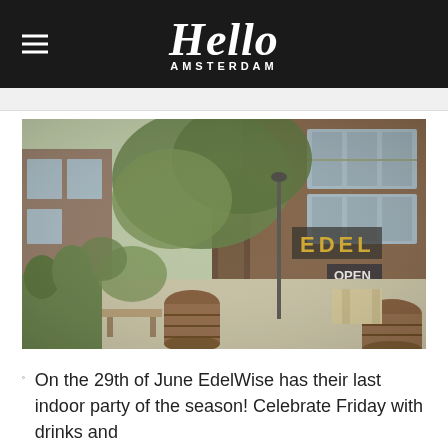Hello Amsterdam
[Figure (photo): Outdoor terrace/garden area of EdelWise venue in Amsterdam, showing a brick building with 'EDEL' sign, large tree, wooden barrels, garden furniture, and lush greenery]
On the 29th of June EdelWise has their last indoor party of the season! Celebrate Friday with drinks and